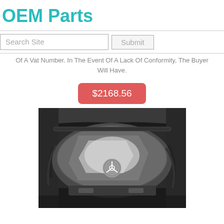OEM Parts
Search Site
Of A Vat Number. In The Event Of A Lack Of Conformity, The Buyer Will Have.
$2168.56
[Figure (photo): Mercedes-Benz engine bay showing engine cover with Mercedes star logo, viewed from above]